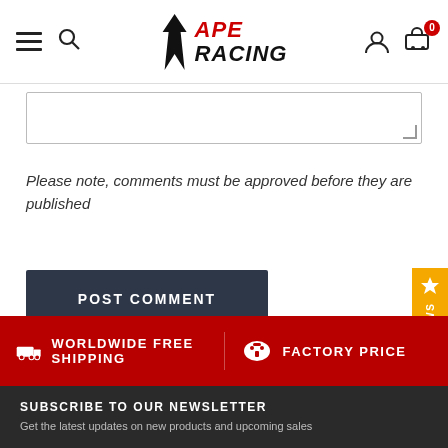APE RACING
Please note, comments must be approved before they are published
POST COMMENT
WORLDWIDE FREE SHIPPING
FACTORY PRICE
SUBSCRIBE TO OUR NEWSLETTER
Get the latest updates on new products and upcoming sales